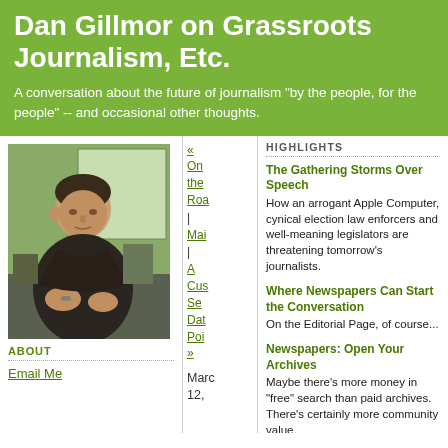Dan Gillmor on Grassroots Journalism, Etc.
A conversation about the future of journalism "by the people, for the people" -- and occasional other thoughts.
[Figure (photo): Portrait photo of Dan Gillmor, a middle-aged man with dark hair wearing a dark shirt, standing in an office/study environment]
ABOUT
Email Me
« On the Road | Main | A Custom Search Data Point »
Marc 12,
HIGHLIGHTS
The Gathering Storms Over Speech How an arrogant Apple Computer, cynical election law enforcers and well-meaning legislators are threatening tomorrow's journalists.
Where Newspapers Can Start the Conversation On the Editorial Page, of course...
Newspapers: Open Your Archives Maybe there's more money in "free" search than paid archives. There's certainly more community value.
The End of Objectivity If objectivity is unattainable, let's replace it with something better.